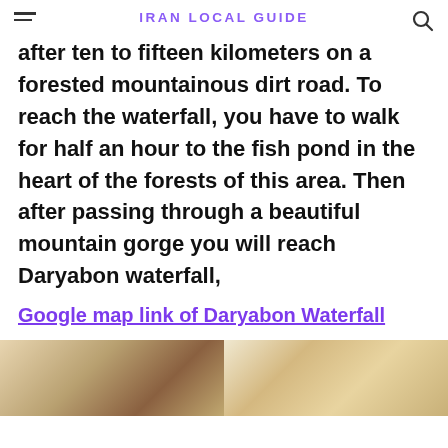IRAN LOCAL GUIDE
after ten to fifteen kilometers on a forested mountainous dirt road. To reach the waterfall, you have to walk for half an hour to the fish pond in the heart of the forests of this area. Then after passing through a beautiful mountain gorge you will reach Daryabon waterfall,
Google map link of Daryabon Waterfall
[Figure (photo): Two photos side by side showing market/shop scenes]